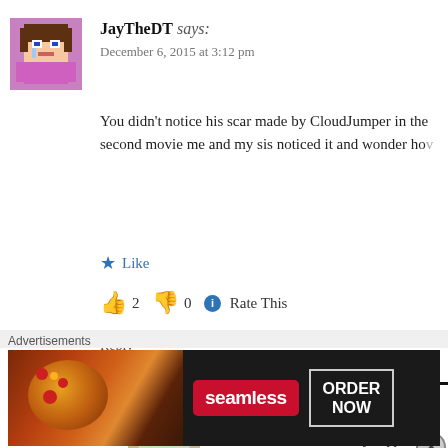[Figure (photo): Pixel art avatar of a Minecraft-style character with brown hair and pink outfit]
JayTheDT says:
December 6, 2015 at 3:12 pm
You didn't notice his scar made by CloudJumper in the second movie me and my sis noticed it and wonder ho...
★ Like
👍 2 👎 0 ℹ Rate This
Reply
[Figure (photo): Profile photo of Robert Lockard, a man with short hair smiling]
Robert Lockard, the Deja Reviewer says
December 6, 2015 at 8:08 pm
Yeah, that detail definitely slipped by m...
Advertisements
[Figure (screenshot): Seamless food delivery advertisement banner showing pizza and ORDER NOW button]